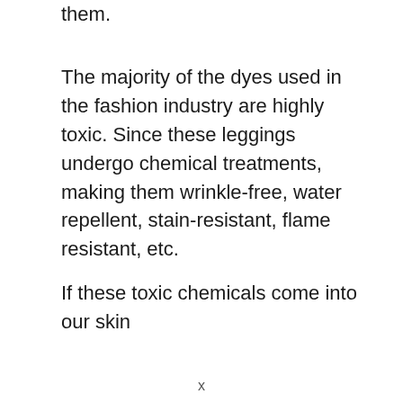them.
The majority of the dyes used in the fashion industry are highly toxic. Since these leggings undergo chemical treatments, making them wrinkle-free, water repellent, stain-resistant, flame resistant, etc.
If these toxic chemicals come into our skin
x